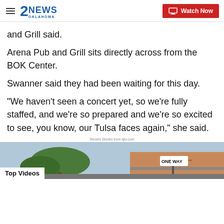2NEWS OKLAHOMA | Watch Now
and Grill said.
Arena Pub and Grill sits directly across from the BOK Center.
Swanner said they had been waiting for this day.
“We haven’t seen a concert yet, so we’re fully staffed, and we’re so prepared and we’re so excited to see, you know, our Tulsa faces again," she said.
Recent Stories from kjtv.com
[Figure (screenshot): Video thumbnail showing a street scene with a ONE WAY sign, trees, and buildings. Labeled 'Top Videos' with a progress bar overlay.]